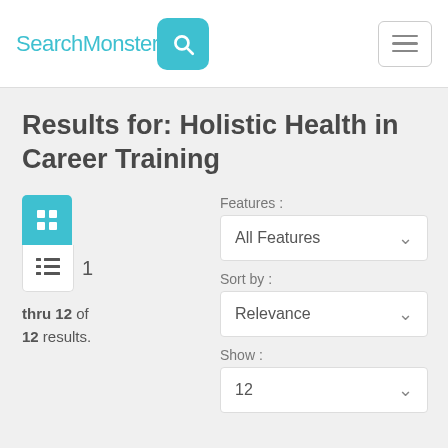SearchMonster [search icon] [hamburger menu]
Results for: Holistic Health in Career Training
1 thru 12 of 12 results.
Features : All Features
Sort by : Relevance
Show : 12